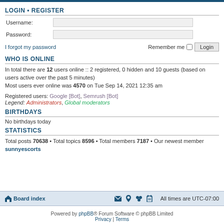LOGIN • REGISTER
Username:
Password:
I forgot my password    Remember me  Login
WHO IS ONLINE
In total there are 12 users online :: 2 registered, 0 hidden and 10 guests (based on users active over the past 5 minutes)
Most users ever online was 4570 on Tue Sep 14, 2021 12:35 am
Registered users: Google [Bot], Semrush [Bot]
Legend: Administrators, Global moderators
BIRTHDAYS
No birthdays today
STATISTICS
Total posts 70638 • Total topics 8596 • Total members 7187 • Our newest member sunnyescorts
Board index    All times are UTC-07:00
Powered by phpBB® Forum Software © phpBB Limited
Privacy | Terms